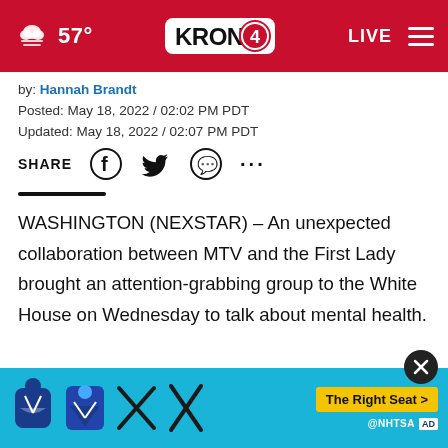57° KRON4 LIVE
by: Hannah Brandt
Posted: May 18, 2022 / 02:02 PM PDT
Updated: May 18, 2022 / 02:07 PM PDT
SHARE
WASHINGTON (NEXSTAR) – An unexpected collaboration between MTV and the First Lady brought an attention-grabbing group to the White House on Wednesday to talk about mental health.
Selena G... health influencers chatted... ivek
[Figure (screenshot): Advertisement banner with cyan background showing car seat safety icons and NHTSA branding with 'The Right Seat' call-to-action button]